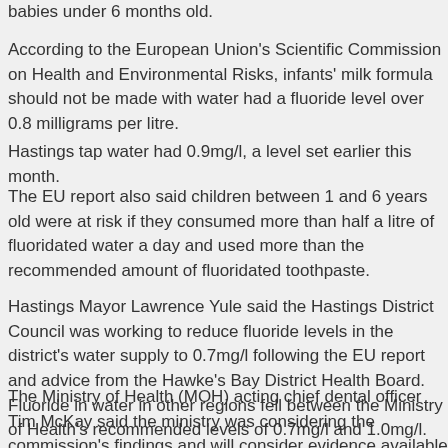babies under 6 months old.
According to the European Union's Scientific Commission on Health and Environmental Risks, infants' milk formula should not be made with water had a fluoride level over 0.8 milligrams per litre.
Hastings tap water had 0.9mg/l, a level set earlier this month.
The EU report also said children between 1 and 6 years old were at risk if they consumed more than half a litre of fluoridated water a day and used more than the recommended amount of fluoridated toothpaste.
Hastings Mayor Lawrence Yule said the Hastings District Council was working to reduce fluoride levels in the district's water supply to 0.7mg/l following the EU report and advice from the Hawke's Bay District Health Board. Fluoride in water in other regions fell between the Ministry of Health's recommended levels of 0.7mg/l and 1.0mg/l.
The Ministry of Health (MOH) acting chief dental officer Tim McKay said the ministry was considering the commission's findings and will consider evidence available to a New Zealand context.